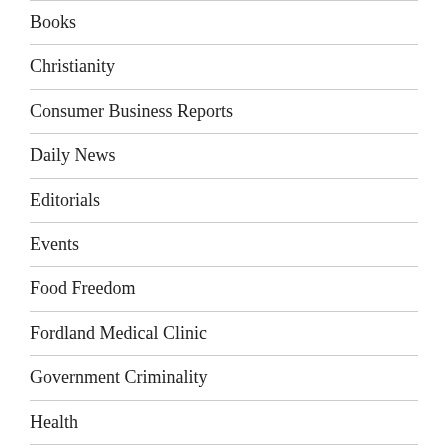Books
Christianity
Consumer Business Reports
Daily News
Editorials
Events
Food Freedom
Fordland Medical Clinic
Government Criminality
Health
MFP's sporadic blog